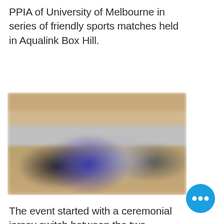PPIA of University of Melbourne in series of friendly sports matches held in Aqualink Box Hill.
[Figure (photo): Blurred indoor photo of people, likely at a sports facility, showing figures in sports attire in front of bleachers or seating area.]
The event started with a ceremonial jersey switch between the two presidents of each PPIA organizati... The 'jerseys' being exchanged were actually committee member shirts, but
[Figure (other): Blue circular more/options button with three dots (ellipsis)]